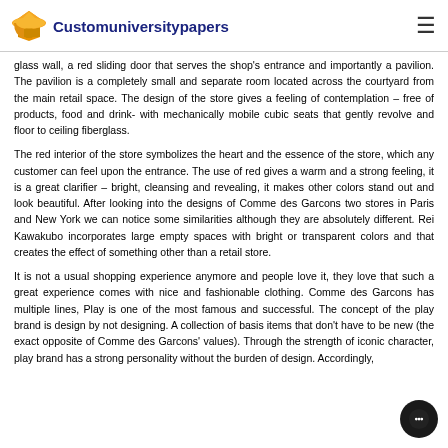Customuniversitypapers
glass wall, a red sliding door that serves the shop's entrance and importantly a pavilion. The pavilion is a completely small and separate room located across the courtyard from the main retail space. The design of the store gives a feeling of contemplation – free of products, food and drink- with mechanically mobile cubic seats that gently revolve and floor to ceiling fiberglass.
The red interior of the store symbolizes the heart and the essence of the store, which any customer can feel upon the entrance. The use of red gives a warm and a strong feeling, it is a great clarifier – bright, cleansing and revealing, it makes other colors stand out and look beautiful. After looking into the designs of Comme des Garcons two stores in Paris and New York we can notice some similarities although they are absolutely different. Rei Kawakubo incorporates large empty spaces with bright or transparent colors and that creates the effect of something other than a retail store.
It is not a usual shopping experience anymore and people love it, they love that such a great experience comes with nice and fashionable clothing. Comme des Garcons has multiple lines, Play is one of the most famous and successful. The concept of the play brand is design by not designing. A collection of basis items that don't have to be new (the exact opposite of Comme des Garcons' values). Through the strength of iconic character, play brand has a strong personality without the burden of design. Accordingly,